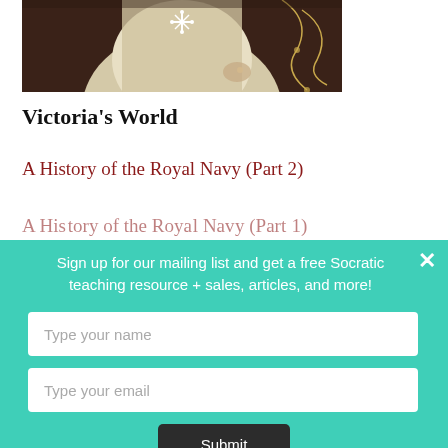[Figure (photo): Partial view of a painted portrait of a woman in historical dress with decorative floral motifs in the background, cropped at top.]
Victoria's World
A History of the Royal Navy (Part 2)
A History of the Royal Navy (Part 1)
Sign up for our mailing list and get a free Socratic teaching resource + sales, articles, and more!
Type your name
Type your email
Submit